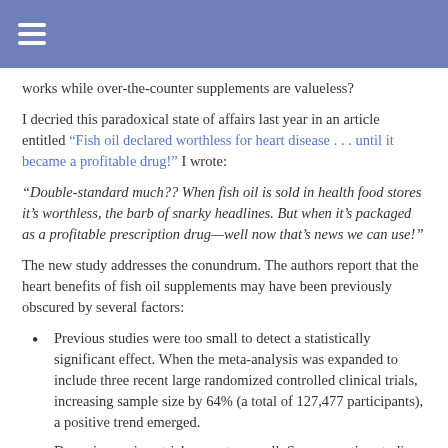works while over-the-counter supplements are valueless?
I decried this paradoxical state of affairs last year in an article entitled “Fish oil declared worthless for heart disease . . . until it became a profitable drug!” I wrote:
“Double-standard much?? When fish oil is sold in health food stores it’s worthless, the barb of snarky headlines. But when it’s packaged as a profitable prescription drug—well now that’s news we can use!”
The new study addresses the conundrum. The authors report that the heart benefits of fish oil supplements may have been previously obscured by several factors:
Previous studies were too small to detect a statistically significant effect. When the meta-analysis was expanded to include three recent large randomized controlled clinical trials, increasing sample size by 64% (a total of 127,477 participants), a positive trend emerged.
Doses in previous trials were too small. Some negative studies looked at the effects of just one fish oil pill (1000 mg) per day—when Amarin’s successful REDUCE-IT trial